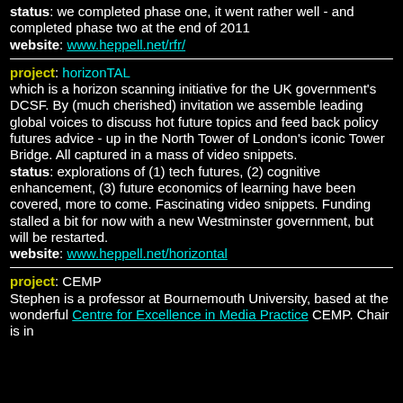status: we completed phase one, it went rather well - and completed phase two at the end of 2011
website: www.heppell.net/rfr/
project: horizonTAL
which is a horizon scanning initiative for the UK government's DCSF. By (much cherished) invitation we assemble leading global voices to discuss hot future topics and feed back policy futures advice - up in the North Tower of London's iconic Tower Bridge. All captured in a mass of video snippets.
status: explorations of (1) tech futures, (2) cognitive enhancement, (3) future economics of learning have been covered, more to come. Fascinating video snippets. Funding stalled a bit for now with a new Westminster government, but will be restarted.
website: www.heppell.net/horizontal
project: CEMP
Stephen is a professor at Bournemouth University, based at the wonderful Centre for Excellence in Media Practice CEMP. Chair is in